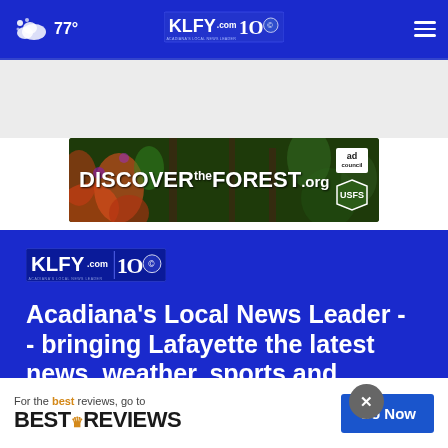KLFY.com 10 — 77° navigation bar
[Figure (screenshot): DiscovertheForest.org advertisement banner with forest background, Ad Council and US Forest Service logos]
[Figure (logo): KLFY.com 10 logo — Acadiana's Local News Leader]
Acadiana's Local News Leader -- bringing Lafayette the latest news, weather, sports and entertainment
[Figure (screenshot): BestReviews advertisement overlay with 'For the best reviews, go to BESTREVIEWS' and 'Go Now' button, with close X button]